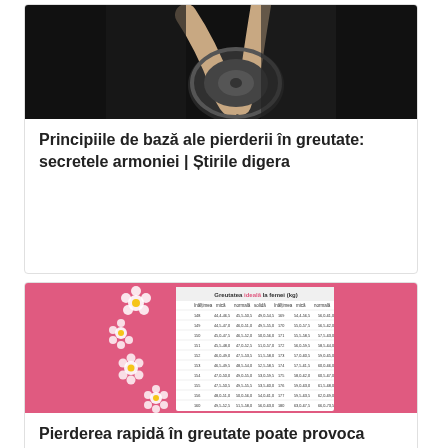[Figure (photo): Person holding a dumbbell weight plate, dark background, fitness/gym setting]
Principiile de bază ale pierderii în greutate: secretele armoniei | Știrile digera
[Figure (table-as-image): Pink table titled 'Greutatea ideală la femei (kg)' showing ideal weight ranges for women with flower decorations]
Pierderea rapidă în greutate poate provoca